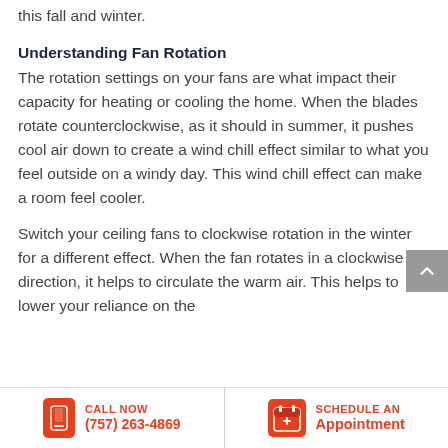this fall and winter.
Understanding Fan Rotation
The rotation settings on your fans are what impact their capacity for heating or cooling the home. When the blades rotate counterclockwise, as it should in summer, it pushes cool air down to create a wind chill effect similar to what you feel outside on a windy day. This wind chill effect can make a room feel cooler.
Switch your ceiling fans to clockwise rotation in the winter for a different effect. When the fan rotates in a clockwise direction, it helps to circulate the warm air. This helps to lower your reliance on the
CALL NOW (757) 263-4869 | SCHEDULE AN Appointment